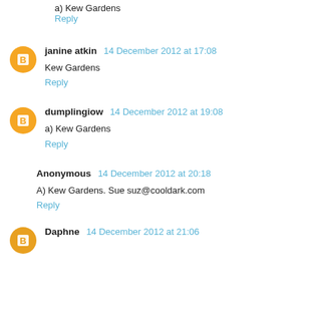a) Kew Gardens
Reply
janine atkin  14 December 2012 at 17:08
Kew Gardens
Reply
dumplingiow  14 December 2012 at 19:08
a) Kew Gardens
Reply
Anonymous  14 December 2012 at 20:18
A) Kew Gardens. Sue suz@cooldark.com
Reply
Daphne  14 December 2012 at 21:06